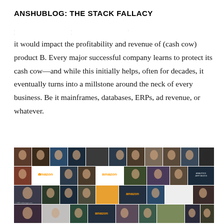ANSHUBLOG: THE STACK FALLACY
it would impact the profitability and revenue of (cash cow) product B. Every major successful company learns to protect its cash cow—and while this initially helps, often for decades, it eventually turns into a millstone around the neck of every business. Be it mainframes, databases, ERPs, ad revenue, or whatever.
[Figure (photo): Grid of multiple photos of Jeff Bezos in various settings and poses, including some images with Amazon branding/logos]